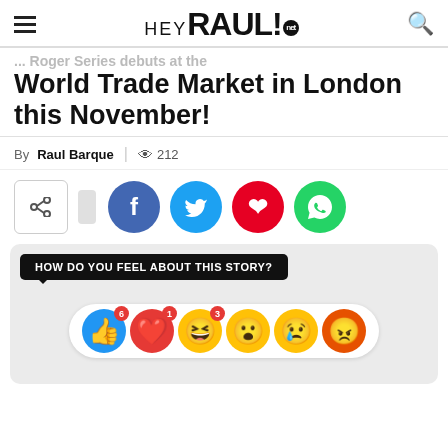HEY RAUL! .net
... Roger Series debuts at the World Trade Market in London this November!
By Raul Barque | 212 views
[Figure (infographic): Social share buttons: share icon, Facebook (f), Twitter (bird), Pinterest (p), WhatsApp (phone)]
[Figure (infographic): Reaction widget: HOW DO YOU FEEL ABOUT THIS STORY? with emoji reactions - thumbs up (6), heart (1), laughing (3), surprised, sad, angry]